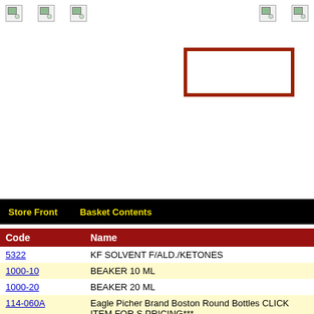[broken image icons row]
[Figure (screenshot): Red-bordered empty search box rectangle positioned in upper right area of page]
Store Front   Basket Contents
| Code | Name |
| --- | --- |
| 5322 | KF SOLVENT F/ALD./KETONES |
| 1000-10 | BEAKER 10 ML |
| 1000-20 | BEAKER 20 ML |
| 114-060A | Eagle Picher Brand Boston Round Bottles CLICK ITEM FOR S PRICING*** |
| 100-00 | Eagle Picher Brand STRAIGHT SIDE ROUND JARS CLICK IT |